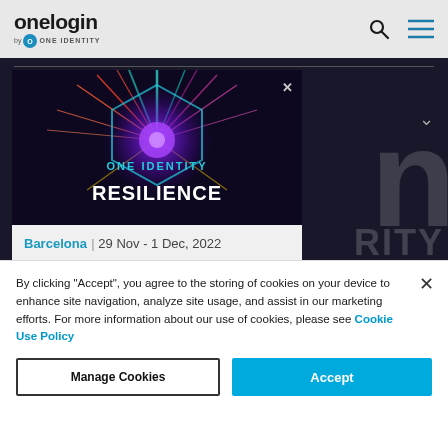onelogin by ONE IDENTITY
[Figure (screenshot): One Identity Resilience event banner showing 'ONE IDENTITY RESILIENCE' text with colorful starburst graphic on dark background]
Barcelona | 29 Nov - 1 Dec, 2022
We're hosting the world's
By clicking “Accept”, you agree to the storing of cookies on your device to enhance site navigation, analyze site usage, and assist in our marketing efforts. For more information about our use of cookies, please see Cookie Use Policy
Manage Cookies
Accept